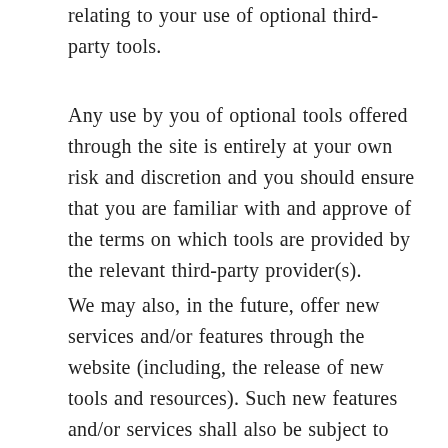relating to your use of optional third-party tools.
Any use by you of optional tools offered through the site is entirely at your own risk and discretion and you should ensure that you are familiar with and approve of the terms on which tools are provided by the relevant third-party provider(s).
We may also, in the future, offer new services and/or features through the website (including, the release of new tools and resources). Such new features and/or services shall also be subject to these Terms of Service.